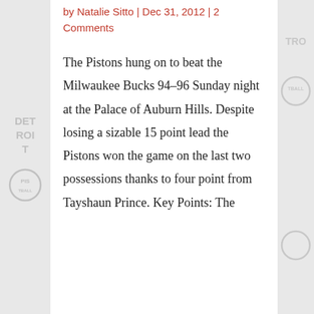by Natalie Sitto | Dec 31, 2012 | 2 Comments
The Pistons hung on to beat the Milwaukee Bucks 94–96 Sunday night at the Palace of Auburn Hills. Despite losing a sizable 15 point lead the Pistons won the game on the last two possessions thanks to four point from Tayshaun Prince. Key Points: The